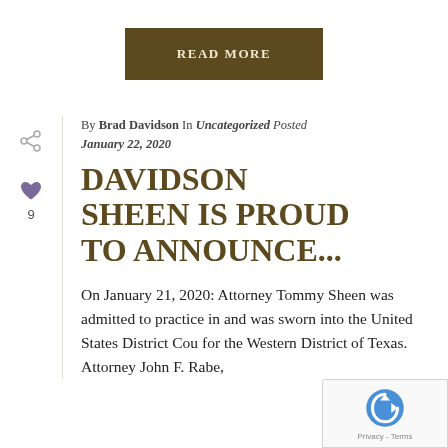READ MORE
By Brad Davidson In Uncategorized Posted January 22, 2020
DAVIDSON SHEEN IS PROUD TO ANNOUNCE...
On January 21, 2020: Attorney Tommy Sheen was admitted to practice in and was sworn into the United States District Cou for the Western District of Texas. Attorney John F. Rabe,